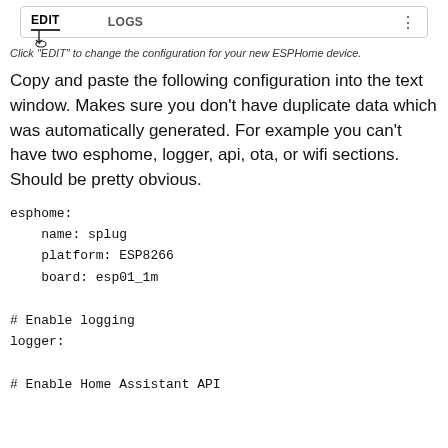[Figure (screenshot): Tab bar with EDIT and LOGS tabs, cursor icon on EDIT, three-dot menu on right]
Click "EDIT" to change the configuration for your new ESPHome device.
Copy and paste the following configuration into the text window. Makes sure you don't have duplicate data which was automatically generated. For example you can't have two esphome, logger, api, ota, or wifi sections. Should be pretty obvious.
esphome:
    name: splug
    platform: ESP8266
    board: esp01_1m

# Enable logging
logger:

# Enable Home Assistant API